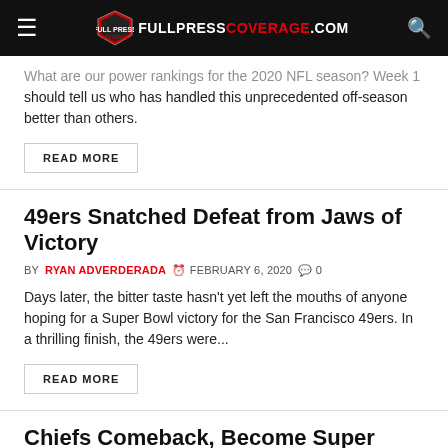FULLPRESS COVERAGE.COM
What are our power rankings for the 2020 NFL season? Week 1 should tell us who has handled this unprecedented off-season better than others.
READ MORE
49ers Snatched Defeat from Jaws of Victory
BY RYAN ADVERDERADA  FEBRUARY 6, 2020  0
Days later, the bitter taste hasn't yet left the mouths of anyone hoping for a Super Bowl victory for the San Francisco 49ers. In a thrilling finish, the 49ers were...
READ MORE
Chiefs Comeback, Become Super Bowl Champions